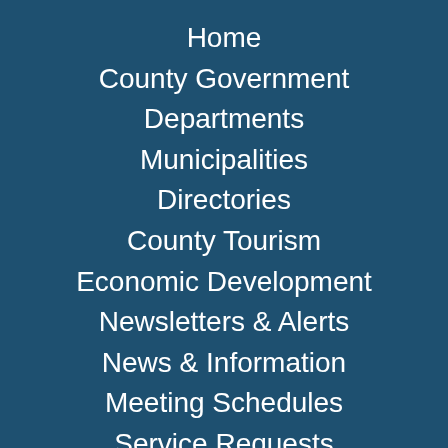Home
County Government
Departments
Municipalities
Directories
County Tourism
Economic Development
Newsletters & Alerts
News & Information
Meeting Schedules
Service Requests